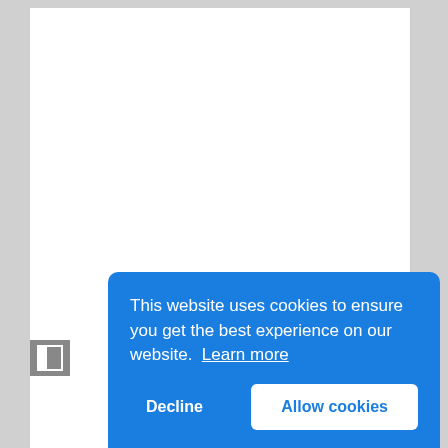[Figure (screenshot): White document page area with a loading spinner (radial lines) in the center, on a light gray background with a vertical border on the right side.]
[Figure (screenshot): A small sidebar toggle icon (square with a left panel highlighted in white) on a gray background, positioned at the left edge of the cookie banner.]
This website uses cookies to ensure you get the best experience on our website.  Learn more
Decline
Allow cookies